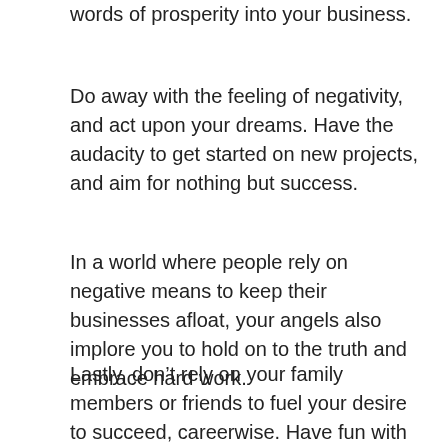words of prosperity into your business.
Do away with the feeling of negativity, and act upon your dreams. Have the audacity to get started on new projects, and aim for nothing but success.
In a world where people rely on negative means to keep their businesses afloat, your angels also implore you to hold on to the truth and embrace hard work.
Lastly, don’t rely on your family members or friends to fuel your desire to succeed, careerwise. Have fun with what you do, and trust your inner voice to lead you to greener pastures in your pursuit of success.